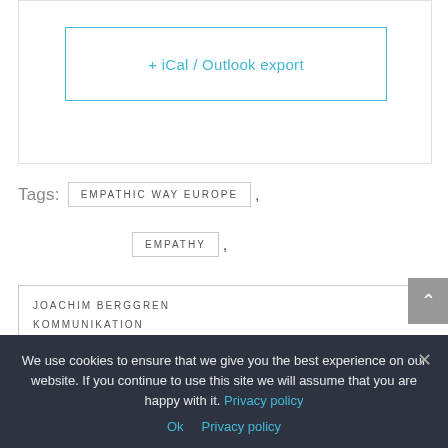[Figure (screenshot): Top section with a bordered white box containing an iCal / Outlook export button outlined in cyan/teal color]
+ iCal / Outlook export
Tags:  EMPATHIC WAY EUROPE ,
EMPATHY ,
JOACHIM BERGGREN
KOMMUNIKATION
MELANIE SEARS ,  NEEDS
We use cookies to ensure that we give you the best experience on our website. If you continue to use this site we will assume that you are happy with it. Privacy policy
Ok  Privacy policy